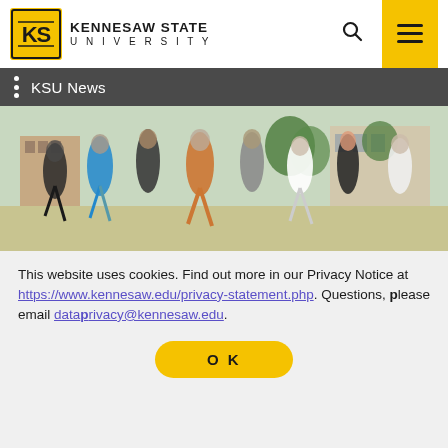Kennesaw State University
KSU News
[Figure (photo): Group of students jumping joyfully outdoors on a campus lawn with university buildings and trees in the background]
This website uses cookies. Find out more in our Privacy Notice at https://www.kennesaw.edu/privacy-statement.php. Questions, please email dataprivacy@kennesaw.edu.